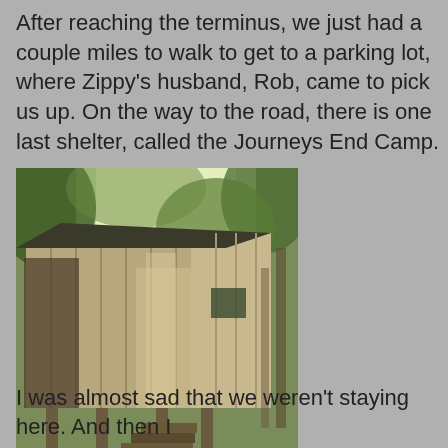After reaching the terminus, we just had a couple miles to walk to get to a parking lot, where Zippy's husband, Rob, came to pick us up. On the way to the road, there is one last shelter, called the Journeys End Camp.
[Figure (photo): A rustic wooden shelter cabin elevated on wooden stilts with wooden steps leading up to it, surrounded by trees and forest undergrowth. The cabin has vertical wooden plank siding and a slanted roof.]
I was almost sad that we weren't staying here. And then I